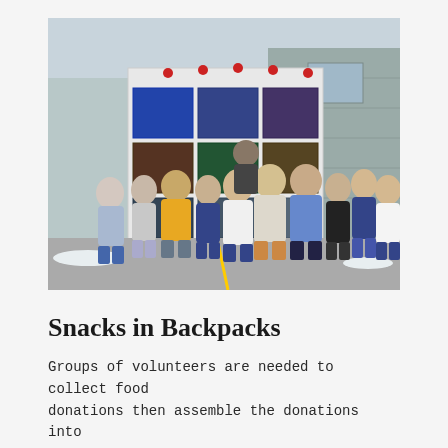[Figure (photo): Group photo of approximately 13 teenagers/young adults standing in front of an open truck loaded with food donation crates. The setting appears to be a parking lot with snow on the ground, in front of a stone building. The group is smiling and posing together.]
Snacks in Backpacks
Groups of volunteers are needed to collect food donations then assemble the donations into